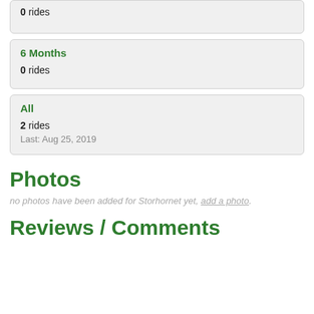0 rides
6 Months
0 rides
All
2 rides
Last: Aug 25, 2019
Photos
no photos have been added for Storhornet yet, add a photo.
Reviews / Comments